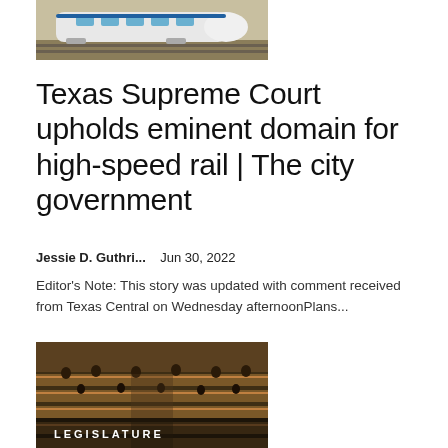[Figure (photo): High-speed white train on tracks in open landscape]
Texas Supreme Court upholds eminent domain for high-speed rail | The city government
Jessie D. Guthri...    Jun 30, 2022
Editor's Note: This story was updated with comment received from Texas Central on Wednesday afternoonPlans...
[Figure (photo): Legislative chamber interior with legislators at wooden desks, overlay text reading LEGISLATURE]